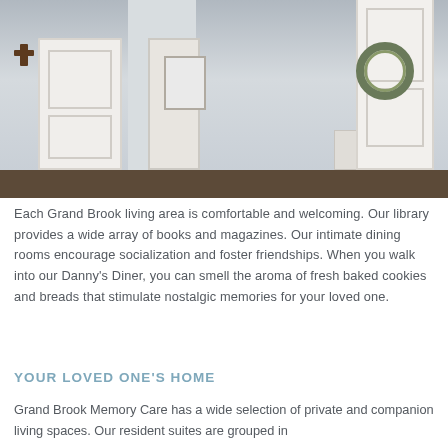[Figure (photo): Interior hallway of Grand Brook Memory Care facility showing white doors with personal decorations including a cross, shadow box frames, and a decorative wreath, with light blue-grey walls and wainscoting.]
Each Grand Brook living area is comfortable and welcoming. Our library provides a wide array of books and magazines. Our intimate dining rooms encourage socialization and foster friendships. When you walk into our Danny's Diner, you can smell the aroma of fresh baked cookies and breads that stimulate nostalgic memories for your loved one.
YOUR LOVED ONE'S HOME
Grand Brook Memory Care has a wide selection of private and companion living spaces. Our resident suites are grouped in